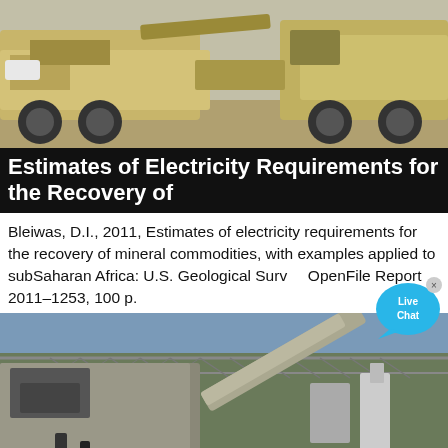[Figure (photo): Outdoor photo of large yellow/tan mining or construction equipment trucks on a dirt lot]
Estimates of Electricity Requirements for the Recovery of
Bleiwas, D.I., 2011, Estimates of electricity requirements for the recovery of mineral commodities, with examples applied to subSaharan Africa: U.S. Geological Survey OpenFile Report 2011–1253, 100 p.
[Figure (photo): Industrial mining facility interior showing large machinery, conveyor belts, and metal truss roof structure against a blue sky]